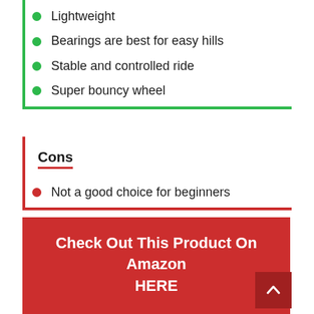Lightweight
Bearings are best for easy hills
Stable and controlled ride
Super bouncy wheel
Cons
Not a good choice for beginners
Check Out This Product On Amazon HERE